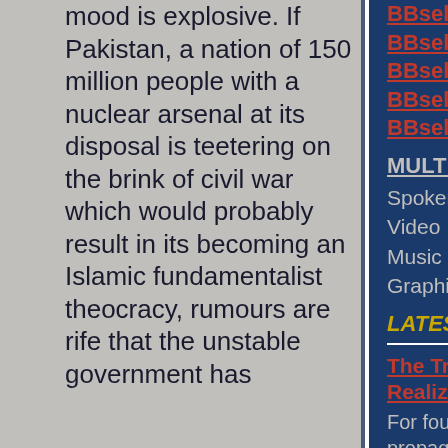mood is explosive. If Pakistan, a nation of 150 million people with a nuclear arsenal at its disposal is teetering on the brink of civil war which would probably result in its becoming an Islamic fundamentalist theocracy, rumours are rife that the unstable government has
BBselect002
BBselect003
BBselect004
BBselect005
BBselect006
MULTI MEDIA
Spoken Word
Video
Music
Graphic Art
LATEST POSTS & COMMENTS
The True Cost Of The Green Energy Boom Not Yet Realized
For four decades we have been fed a constant diet of propaganda assuring us that green energy was the way forward if we wanted to secure supplies of the energy a modern society while preventing the environmental catastrophes that would be the inevitable consequences of change caused by the Carbon Dioxide (CO2) generated by industrial, commercial and social activity. ...
>>>